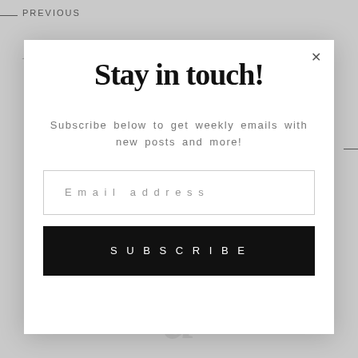PREVIOUS
Stay in touch!
Subscribe below to get weekly emails with new posts and more!
Email address
SUBSCRIBE